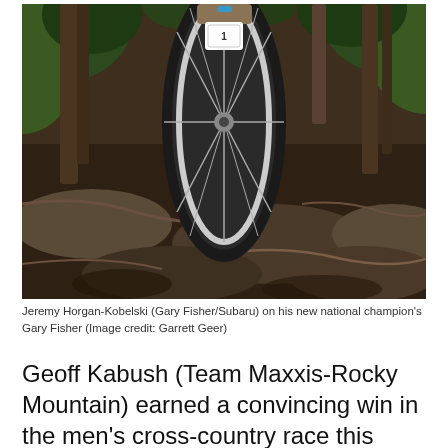[Figure (photo): Mountain bike rider descending a rocky rooted trail through a forest. The photo is shot from a low angle showing the front wheel of the bike close-up, with trees and exposed roots in the background.]
Jeremy Horgan-Kobelski (Gary Fisher/Subaru) on his new national champion's Gary Fisher (Image credit: Garrett Geer)
Geoff Kabush (Team Maxxis-Rocky Mountain) earned a convincing win in the men's cross-country race this